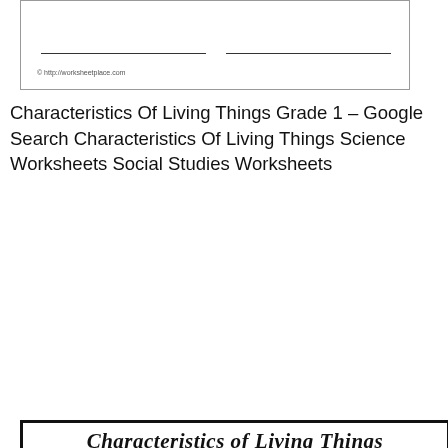[Figure (other): Top portion of a worksheet with two blank lines and copyright notice from worksheetplace.com]
Characteristics Of Living Things Grade 1 – Google Search Characteristics Of Living Things Science Worksheets Social Studies Worksheets
[Figure (other): Characteristics of Living Things Worksheet showing a matching activity with terms like cell, organism, characteristic, Development, Stimulus, unicellular, multicellular and definitions, plus a word bank and fill-in-the-blank section]